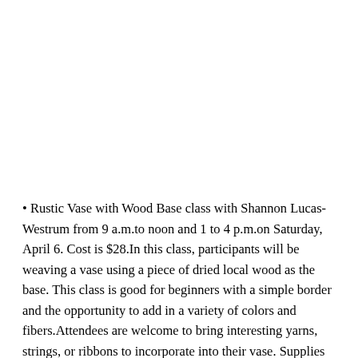• Rustic Vase with Wood Base class with Shannon Lucas-Westrum from 9 a.m.to noon and 1 to 4 p.m.on Saturday, April 6. Cost is $28.In this class, participants will be weaving a vase using a piece of dried local wood as the base. This class is good for beginners with a simple border and the opportunity to add in a variety of colors and fibers.Attendees are welcome to bring interesting yarns, strings, or ribbons to incorporate into their vase. Supplies are included.